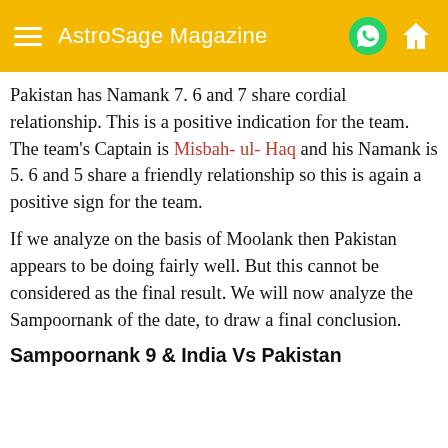AstroSage Magazine
Pakistan has Namank 7. 6 and 7 share cordial relationship. This is a positive indication for the team. The team's Captain is Misbah- ul- Haq and his Namank is 5. 6 and 5 share a friendly relationship so this is again a positive sign for the team.
If we analyze on the basis of Moolank then Pakistan appears to be doing fairly well. But this cannot be considered as the final result. We will now analyze the Sampoornank of the date, to draw a final conclusion.
Sampoornank 9 & India Vs Pakistan